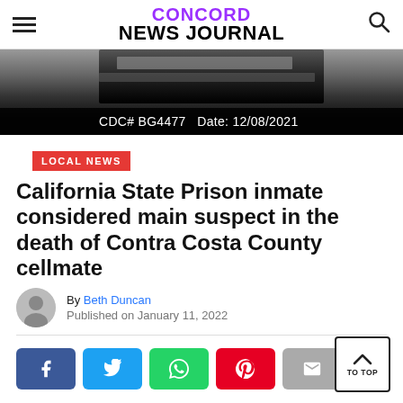CONCORD NEWS JOURNAL
[Figure (photo): Redacted prison mugshot-style image with overlaid text: CDC# BG4477  Date: 12/08/2021]
LOCAL NEWS
California State Prison inmate considered main suspect in the death of Contra Costa County cellmate
By Beth Duncan
Published on January 11, 2022